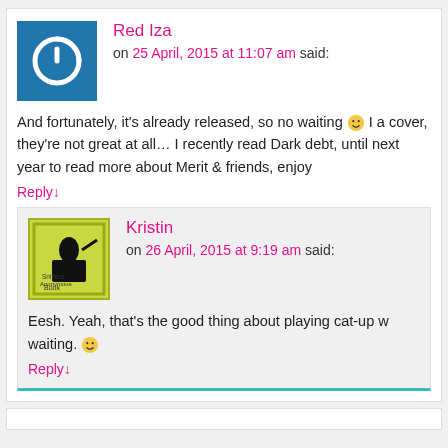Red Iza
on 25 April, 2015 at 11:07 am said:
And fortunately, it's already released, so no waiting 🙂 I a... cover, they're not great at all... I recently read Dark debt, until next year to read more about Merit & friends, enjoy...
Reply↓
Kristin
on 26 April, 2015 at 9:19 am said:
Eesh. Yeah, that's the good thing about playing cat-up w... waiting. 🙂
Reply↓